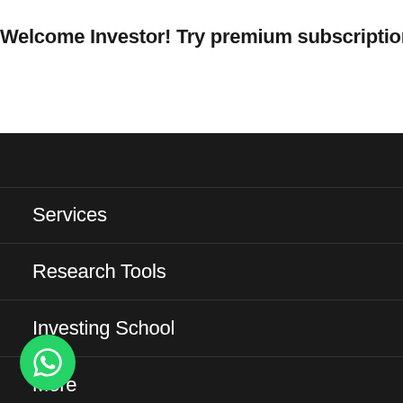Welcome Investor! Try premium subscription for 14 days a
Services
Research Tools
Investing School
More
Support
Stock Directory
[Figure (logo): WhatsApp contact button (green circle with phone/chat icon)]